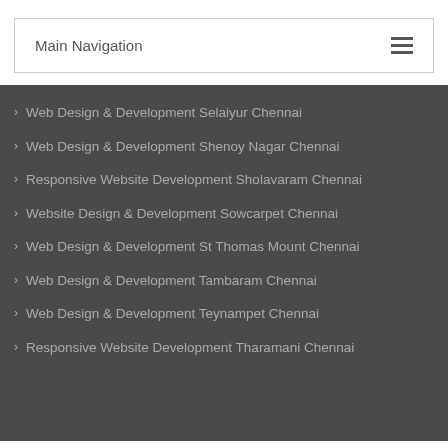Main Navigation
Web Design & Development Selaiyur Chennai
Web Design & Development Shenoy Nagar Chennai
Responsive Website Development Sholavaram Chennai
Website Design & Development Sowcarpet Chennai
Web Design & Development St Thomas Mount Chennai
Web Design & Development Tambaram Chennai
Web Design & Development Teynampet Chennai
Responsive Website Development Tharamani Chennai